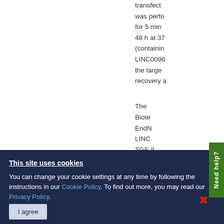transfect... was perfo... for 5 min... 48 h at 37... (containin... LINC0096... the targe... recovery a... The ... Biote... EndN... LINC... TGF-β... C12H15N2O...
This site uses cookies. You can change your cookie settings at any time by following the instructions in our Cookie Policy. To find out more, you may read our Privacy Policy. I agree